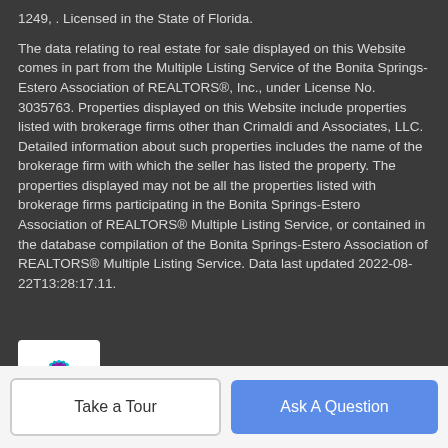1249, . Licensed in the State of Florida.
The data relating to real estate for sale displayed on this Website comes in part from the Multiple Listing Service of the Bonita Springs-Estero Association of REALTORS®, Inc., under License No. 3035763. Properties displayed on this Website include properties listed with brokerage firms other than Crimaldi and Associates, LLC. Detailed information about such properties includes the name of the brokerage firm with which the seller has listed the property. The properties displayed may not be all the properties listed with brokerage firms participating in the Bonita Springs-Estero Association of REALTORS® Multiple Listing Service, or contained in the database compilation of the Bonita Springs-Estero Association of REALTORS® Multiple Listing Service. Data last updated 2022-08-22T13:28:17.11.
[Figure (logo): Stellar MLS flower/lotus logo in teal and purple colors]
© 2022 My Florida Regional MLS DBA Stellar MLS.
Take a Tour
Ask A Question